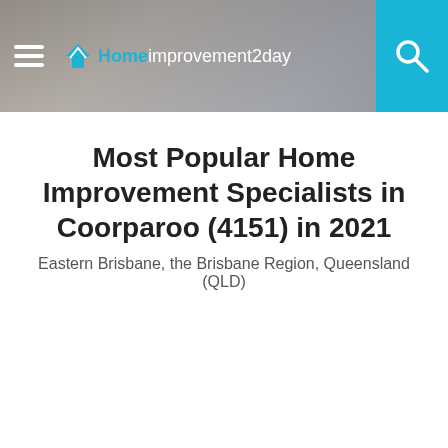Homeimprovement2day
Most Popular Home Improvement Specialists in Coorparoo (4151) in 2021
Eastern Brisbane, the Brisbane Region, Queensland (QLD)